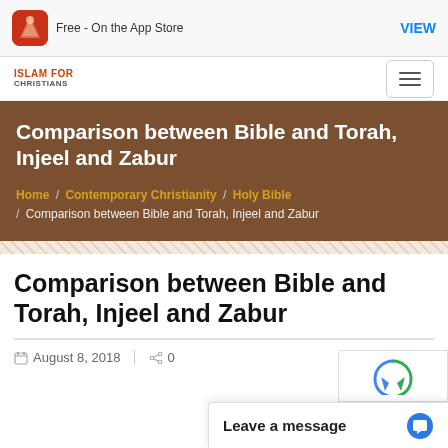Free - On the App Store  VIEW
[Figure (logo): Islam for Christians logo]
Comparison between Bible and Torah, Injeel and Zabur
Home / Contemporary Christianity / Holy Bible / Comparison between Bible and Torah, Injeel and Zabur
Comparison between Bible and Torah, Injeel and Zabur
August 8, 2018   0
Leave a message